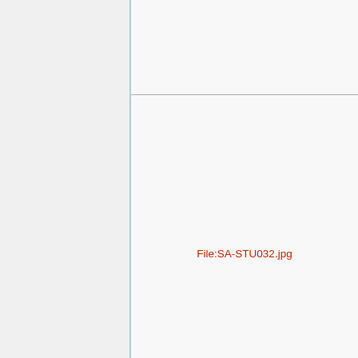[Figure (other): Placeholder image reference indicated by red text label 'File:SA-STU032.jpg' on a light gray background with vertical blue line divider and horizontal gray line separator]